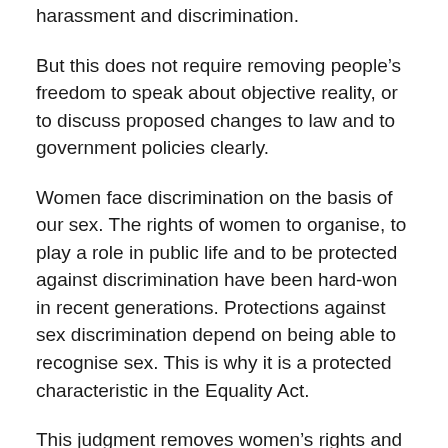harassment and discrimination.
But this does not require removing people’s freedom to speak about objective reality, or to discuss proposed changes to law and to  government policies clearly.
Women face discrimination on the basis of our sex. The rights of women to organise, to play a role in public life and to be protected against discrimination have been hard-won in recent generations. Protections against sex discrimination depend on being able to recognise sex. This is why it is a protected characteristic in the Equality Act.
This judgment removes women’s rights and the right to freedom of belief and speech.  It gives judicial licence for women and men who speak up for objective truth and clear debate to be subject to aggression, bullying, no